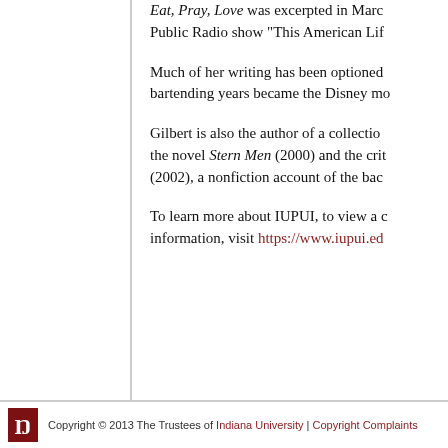Eat, Pray, Love was excerpted in March on the National Public Radio show "This American Life"
Much of her writing has been optioned for film. Her bartending years became the Disney mo…
Gilbert is also the author of a collection… the novel Stern Men (2000) and the criti… (2002), a nonfiction account of the bac…
To learn more about IUPUI, to view a c… information, visit https://www.iupui.ed…
Copyright © 2013 The Trustees of Indiana University | Copyright Complaints